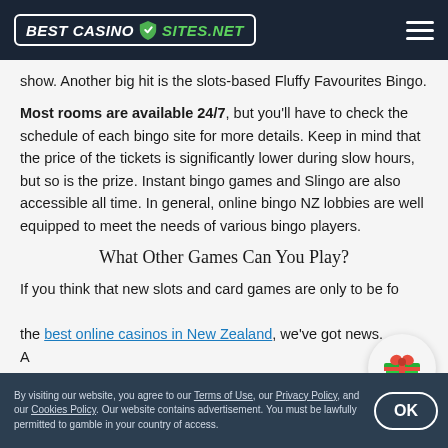BEST CASINO SITES.NET
show. Another big hit is the slots-based Fluffy Favourites Bingo.
Most rooms are available 24/7, but you'll have to check the schedule of each bingo site for more details. Keep in mind that the price of the tickets is significantly lower during slow hours, but so is the prize. Instant bingo games and Slingo are also accessible all time. In general, online bingo NZ lobbies are well equipped to meet the needs of various bingo players.
What Other Games Can You Play?
If you think that new slots and card games are only to be found at the best online casinos in New Zealand, we've got news. All bingo sites in New Zealand have huge sections of side games. And
By visiting our website, you agree to our Terms of Use, our Privacy Policy, and our Cookies Policy. Our website contains advertisement. You must be lawfully permitted to gamble in your country of access.